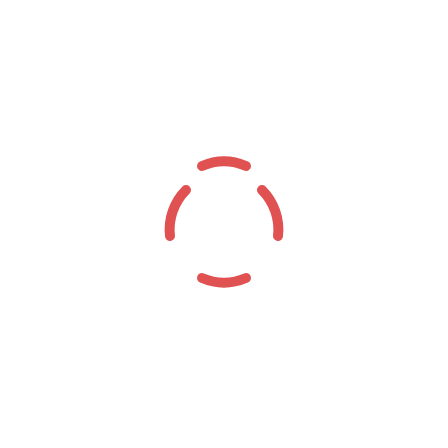[Figure (logo): A circular logo made of four dashed arc segments forming a broken circle, rendered in a coral/salmon red color, centered on the page.]